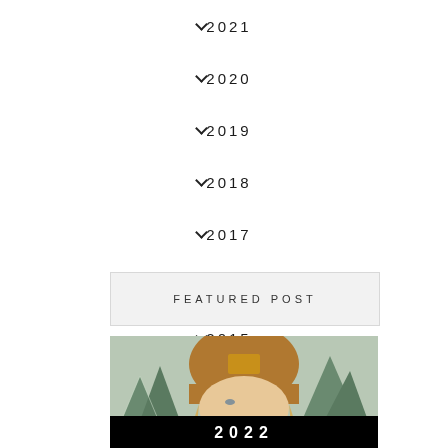2021
2020
2019
2018
2017
2016
2015
2014
2013
FEATURED POST
[Figure (photo): Woman wearing a brown Carhartt beanie hat outdoors near snow-covered pine trees, with a black overlay bar at the bottom showing '2022']